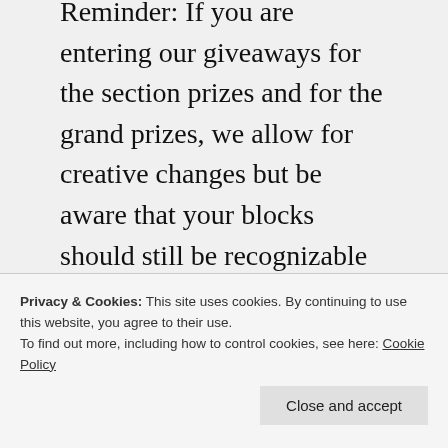Reminder: If you are entering our giveaways for the section prizes and for the grand prizes, we allow for creative changes but be aware that your blocks should still be recognizable as ones made by using the given patterns for this quilt along. However, this is your quilt and if you don't like something, you are free to use whatever you want. Just be aware that block substitutions won't count as an
Privacy & Cookies: This site uses cookies. By continuing to use this website, you agree to their use. To find out more, including how to control cookies, see here: Cookie Policy
Close and accept
and needles if they get sticky from residue